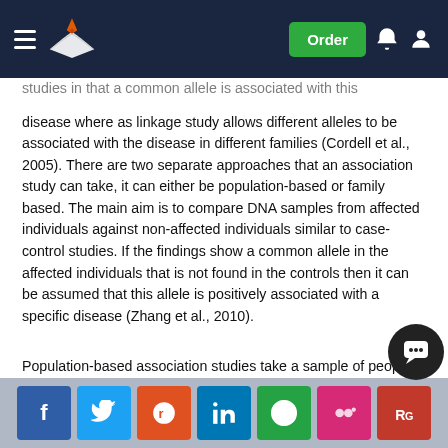Order
studies in that a common allele is associated with this disease where as linkage study allows different alleles to be associated with the disease in different families (Cordell et al., 2005). There are two separate approaches that an association study can take, it can either be population-based or family based. The main aim is to compare DNA samples from affected individuals against non-affected individuals similar to case-control studies. If the findings show a common allele in the affected individuals that is not found in the controls then it can be assumed that this allele is positively associated with a specific disease (Zhang et al., 2010).
Population-based association studies take a sample of people from the population and compares genetic markers between affected individuals (cases) and unaffected individuals that are not related (no blood relation) although the human population does...